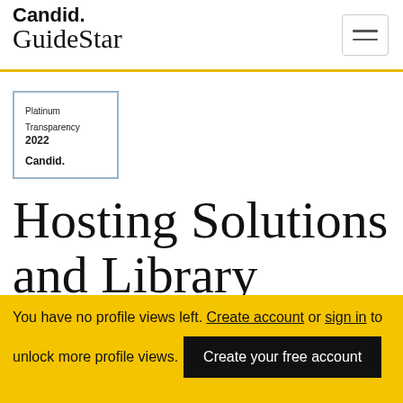Candid. GuideStar
[Figure (logo): Platinum Transparency 2022 Candid. badge with light blue border]
Hosting Solutions and Library Consulting
You have no profile views left. Create account or sign in to unlock more profile views. Create your free account